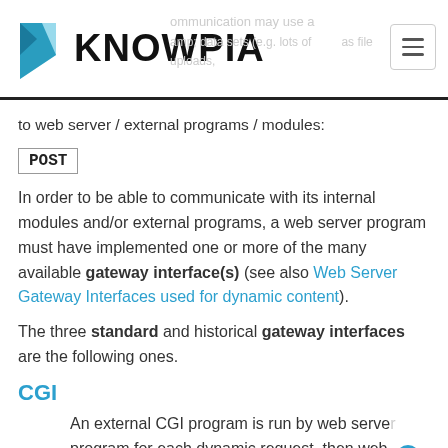KNOWPIA
to web server / external programs / modules:
POST
In order to be able to communicate with its internal modules and/or external programs, a web server program must have implemented one or more of the many available gateway interface(s) (see also Web Server Gateway Interfaces used for dynamic content).
The three standard and historical gateway interfaces are the following ones.
CGI
An external CGI program is run by web server program for each dynamic request, then web server program reads from it the generated data